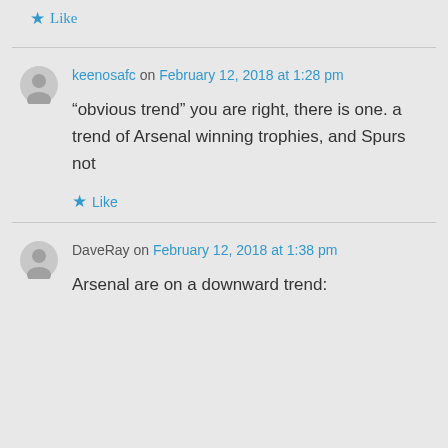★ Like
keenosafc on February 12, 2018 at 1:28 pm
“obvious trend” you are right, there is one. a trend of Arsenal winning trophies, and Spurs not
★ Like
DaveRay on February 12, 2018 at 1:38 pm
Arsenal are on a downward trend: